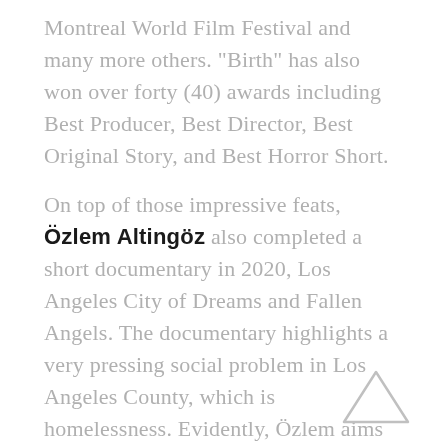Montreal World Film Festival and many more others. “Birth” has also won over forty (40) awards including Best Producer, Best Director, Best Original Story, and Best Horror Short.

On top of those impressive feats, Özlem Atingöz also completed a short documentary in 2020, Los Angeles City of Dreams and Fallen Angels. The documentary highlights a very pressing social problem in Los Angeles County, which is homelessness. Evidently, Özlem aims more than just to entertain, but as well as to address some of the prominent issues in the society.
[Figure (illustration): A light gray outlined triangle (upward-pointing) in the bottom-right corner of the page, functioning as a decorative or navigation element.]